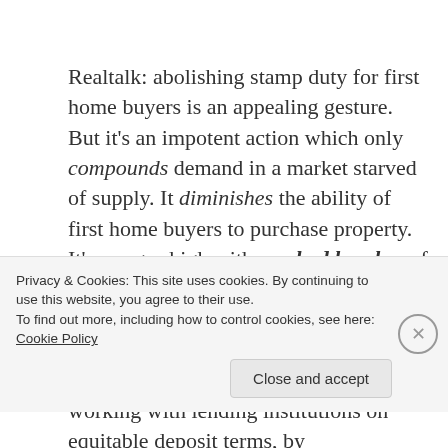Realtalk: abolishing stamp duty for first home buyers is an appealing gesture. But it's an impotent action which only compounds demand in a market starved of supply. It diminishes the ability of first home buyers to purchase property. It's a sugar-high with one bad hombre of a comedown. It compounds the effect that the true barriers to first home ownership present – and if the Federal Government don't take action by working with lending institutions on equitable deposit terms, by amending negative gearing taxation laws and by...
Privacy & Cookies: This site uses cookies. By continuing to use this website, you agree to their use.
To find out more, including how to control cookies, see here: Cookie Policy
Close and accept